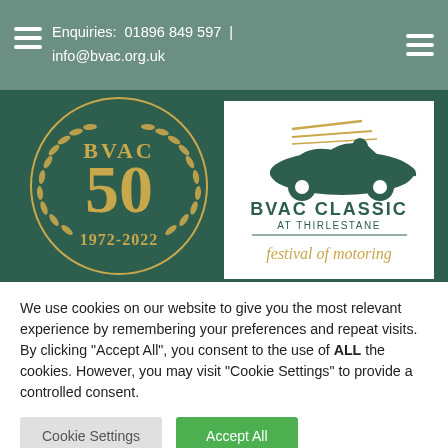Enquiries: 01896 849 597 | info@bvac.org.uk
[Figure (logo): BVAC 50th anniversary badge (1972-2022) and BVAC Classic at Thirlestane Festival of Motoring logo side by side on dark green background]
We use cookies on our website to give you the most relevant experience by remembering your preferences and repeat visits. By clicking "Accept All", you consent to the use of ALL the cookies. However, you may visit "Cookie Settings" to provide a controlled consent.
Cookie Settings | Accept All